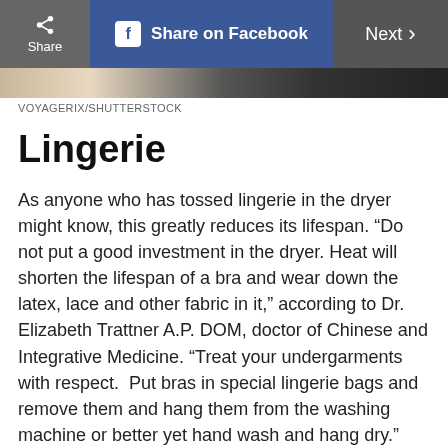Share | Share on Facebook | Next
VOYAGERIX/SHUTTERSTOCK
Lingerie
As anyone who has tossed lingerie in the dryer might know, this greatly reduces its lifespan. “Do not put a good investment in the dryer. Heat will shorten the lifespan of a bra and wear down the latex, lace and other fabric in it,” according to Dr. Elizabeth Trattner A.P. DOM, doctor of Chinese and Integrative Medicine. “Treat your undergarments with respect.  Put bras in special lingerie bags and remove them and hang them from the washing machine or better yet hand wash and hang dry.”